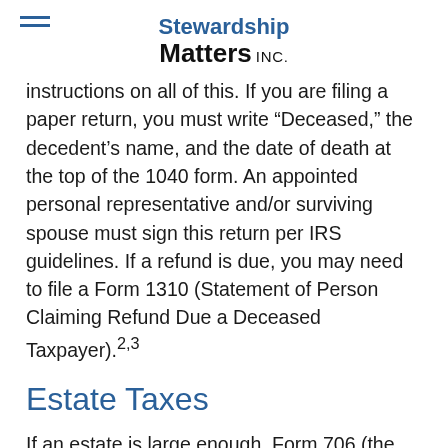Stewardship Matters INC.
instructions on all of this. If you are filing a paper return, you must write “Deceased,” the decedent’s name, and the date of death at the top of the 1040 form. An appointed personal representative and/or surviving spouse must sign this return per IRS guidelines. If a refund is due, you may need to file a Form 1310 (Statement of Person Claiming Refund Due a Deceased Taxpayer).2,3
Estate Taxes
If an estate is large enough, Form 706 (the United States Estate Tax Return) is due to the IRS within nine months of the death of the deceased, with a 6-